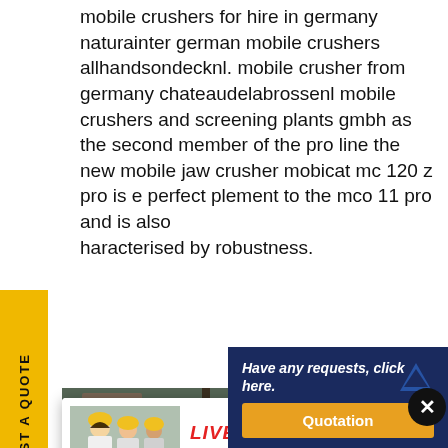mobile crushers for hire in germany naturainter german mobile crushers allhandsondecknl. mobile crusher from germany chateaudelabrossenl mobile crushers and screening plants gmbh as the second member of the pro line the new mobile jaw crusher mobicat mc 120 z pro is e perfect plement to the mco 11 pro and is also haracterised by robustness.
[Figure (screenshot): Live chat popup widget with workers in yellow hard hats, 'LIVE CHAT' title in red, 'Click for a Free Consultation' subtitle, 'Chat now' red button and 'Chat later' dark button]
[Figure (photo): Industrial crusher machinery photo in background]
[Figure (photo): Customer service representative with headset smiling, on right side]
REQUEST A QUOTE
Have any requests, click here.
Quotation